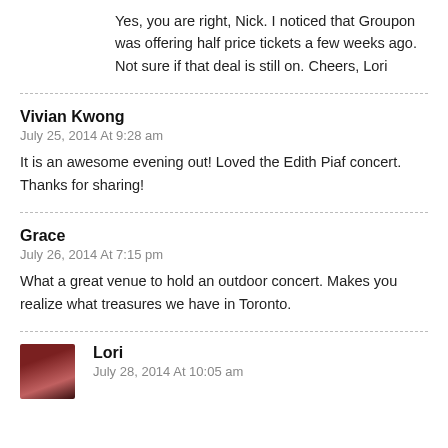Yes, you are right, Nick. I noticed that Groupon was offering half price tickets a few weeks ago. Not sure if that deal is still on. Cheers, Lori
Vivian Kwong
July 25, 2014 At 9:28 am
It is an awesome evening out! Loved the Edith Piaf concert. Thanks for sharing!
Grace
July 26, 2014 At 7:15 pm
What a great venue to hold an outdoor concert. Makes you realize what treasures we have in Toronto.
Lori
July 28, 2014 At 10:05 am